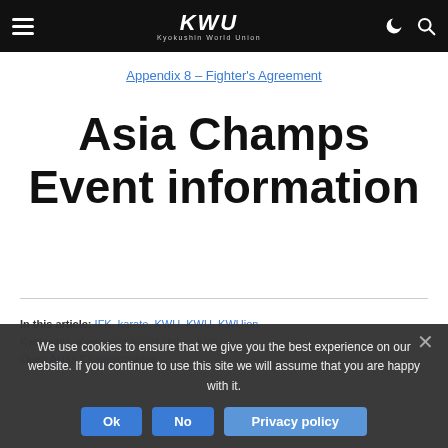KWU Kyokushin World Union — navigation bar
Appendix 8 – Fighter's Agreement
Asia Champs Event information
In this article: IFK, karate, KWU, KWU, KWUion, Kyokushin, Kyokushin World Union, KWU Open Asian Championships
We use cookies to ensure that we give you the best experience on our website. If you continue to use this site we will assume that you are happy with it.